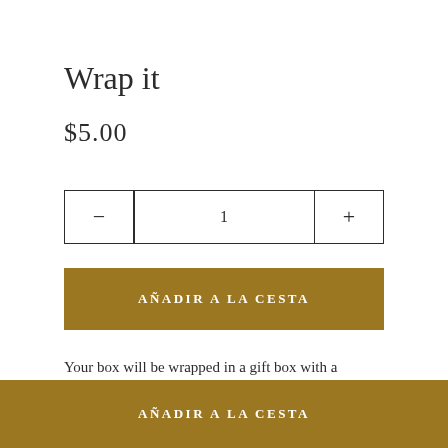Wrap it
$5.00
— 1 +
AÑADIR A LA CESTA
Your box will be wrapped in a gift box with a beautiful satin bow and packed inside of the shipping box.
AÑADIR A LA CESTA